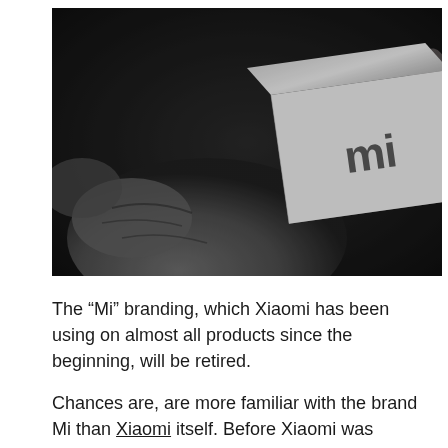[Figure (photo): Black and white close-up photo of a hand holding a Xiaomi device (phone or box) showing the 'mi' logo on its surface.]
The “Mi” branding, which Xiaomi has been using on almost all products since the beginning, will be retired.
Chances are, are more familiar with the brand Mi than Xiaomi itself. Before Xiaomi was divided into